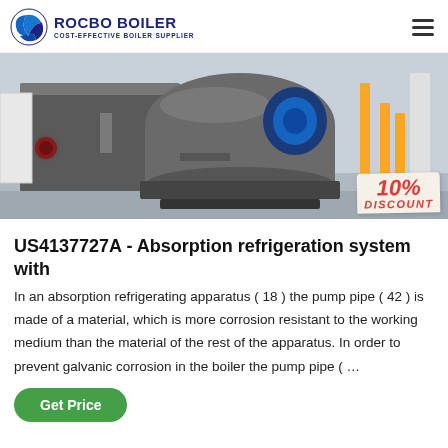ROCBO BOILER - COST-EFFECTIVE BOILER SUPPLIER
[Figure (photo): Industrial boiler equipment in a factory setting with a 10% DISCOUNT badge overlay]
US4137727A - Absorption refrigeration system with
In an absorption refrigerating apparatus ( 18 ) the pump pipe ( 42 ) is made of a material, which is more corrosion resistant to the working medium than the material of the rest of the apparatus. In order to prevent galvanic corrosion in the boiler the pump pipe ( …
Get Price